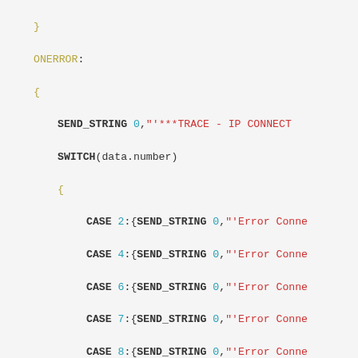Code snippet showing ONERROR and STRING event handlers in a programming language with SWITCH/CASE structure and SEND_STRING commands